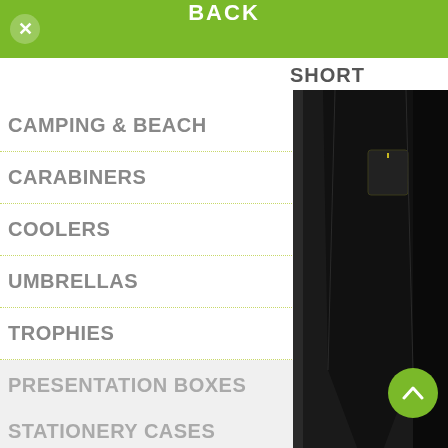BACK
SHORT
CAMPING & BEACH
CARABINERS
COOLERS
UMBRELLAS
TROPHIES
PRESENTATION BOXES
STATIONERY CASES
STICKERS & DECALS
[Figure (photo): Black garment/shorts product image on the right side of the screen]